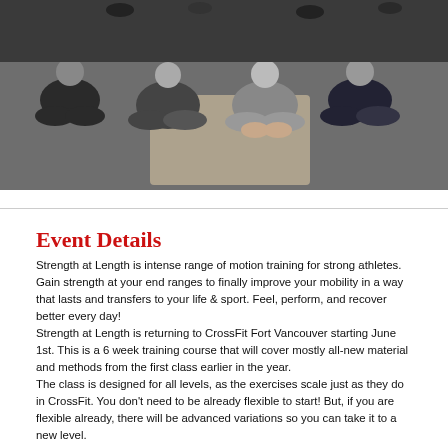[Figure (photo): Group photo of athletes sitting cross-legged on a gym floor, viewed from above]
Event Details
Strength at Length is intense range of motion training for strong athletes. Gain strength at your end ranges to finally improve your mobility in a way that lasts and transfers to your life & sport. Feel, perform, and recover better every day! Strength at Length is returning to CrossFit Fort Vancouver starting June 1st. This is a 6 week training course that will cover mostly all-new material and methods from the first class earlier in the year. The class is designed for all levels, as the exercises scale just as they do in CrossFit. You don't need to be already flexible to start! But, if you are flexible already, there will be advanced variations so you can take it to a new level. Strength at Length will take place on Wednesday evenings at 6:30